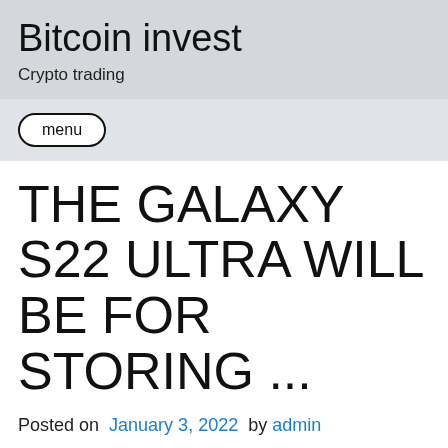Bitcoin invest
Crypto trading
menu
THE GALAXY S22 ULTRA WILL BE FOR STORING ...
Posted on January 3, 2022 by admin